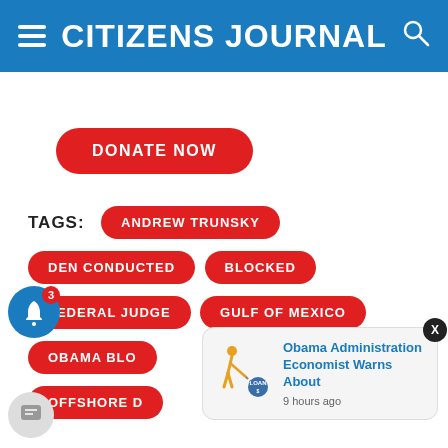CITIZENS JOURNAL
DONATE NOW
TAGS: ANDREW TRUNSKY | DEN CONDUCTED | BLOCKED | FEDERAL JUDGE | GULF OF MEXICO | OBAMA BLO... | OFFSHORE D...
[Figure (screenshot): Ad popup notification: Obama Administration Economist Warns About - 9 hours ago, with illustration of person dragging a loan ball and chain]